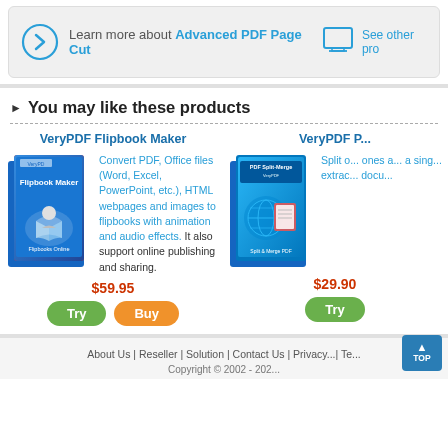Learn more about Advanced PDF Page Cut
See other pro...
You may like these products
VeryPDF Flipbook Maker
[Figure (photo): VeryPDF Flipbook Maker software box art]
Convert PDF, Office files (Word, Excel, PowerPoint, etc.), HTML webpages and images to flipbooks with animation and audio effects. It also support online publishing and sharing.
$59.95
VeryPDF P...
[Figure (photo): VeryPDF PDF Split-Merge software box art]
Split o... ones a... a sing... extrac... docu...
$29.90
About Us | Reseller | Solution | Contact Us | Privacy... | Te... | Copyright © 2002 - 202...